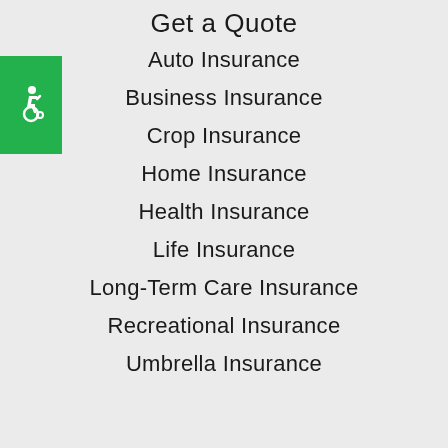Get a Quote
[Figure (illustration): Green square with white wheelchair accessibility icon]
Auto Insurance
Business Insurance
Crop Insurance
Home Insurance
Health Insurance
Life Insurance
Long-Term Care Insurance
Recreational Insurance
Umbrella Insurance